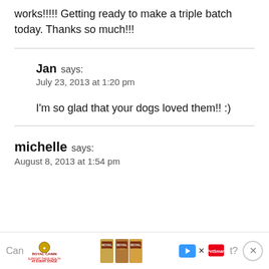works!!!!! Getting ready to make a triple batch today. Thanks so much!!!
Jan says:
July 23, 2013 at 1:20 pm

I'm so glad that your dogs loved them!! :)
michelle says:
August 8, 2013 at 1:54 pm
[Figure (infographic): Royal Canin advertisement banner at bottom of page with logo, tagline 'Support their health at every stage', pet food bags, PetSmart logo, play button, close button]